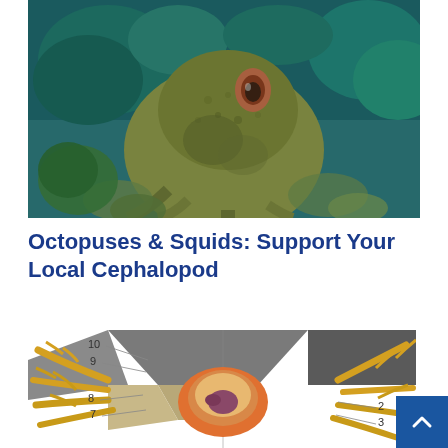[Figure (photo): Close-up underwater photograph of an octopus camouflaged among coral reef structures, showing textured skin in green, brown, and orange tones]
Octopuses & Squids: Support Your Local Cephalopod
[Figure (illustration): Anatomical diagram of a cephalopod (squid or octopus) shown from above with numbered labels (7, 8, 9, 10 on the left side; 2, 3 on the right side). The illustration shows tentacles/arms in golden yellow radiating outward, with internal anatomy visible including mantle and other structures in orange, peach, and purple tones, against a gray and dark background.]